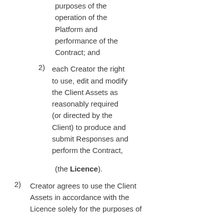purposes of the operation of the Platform and performance of the Contract; and
2) each Creator the right to use, edit and modify the Client Assets as reasonably required (or directed by the Client) to produce and submit Responses and perform the Contract,
(the Licence).
2) Creator agrees to use the Client Assets in accordance with the Licence solely for the purposes of